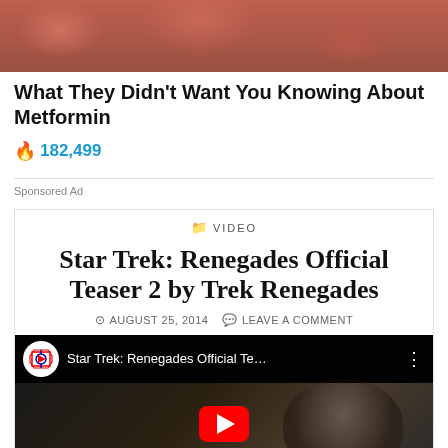[Figure (photo): Close-up image of reddish-brown textured surface, possibly skin or meat]
What They Didn't Want You Knowing About Metformin
🔥 182,499
Sponsored Ad
📁 VIDEO
Star Trek: Renegades Official Teaser 2 by Trek Renegades
AUGUST 25, 2014   LEAVE A COMMENT
[Figure (screenshot): YouTube video thumbnail for Star Trek: Renegades Official Teaser 2, showing a dark alien face with a YouTube play button overlay]